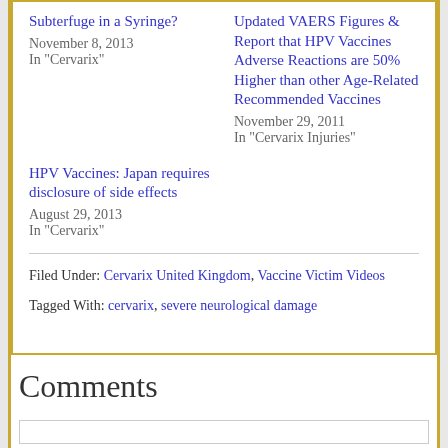Subterfuge in a Syringe?
November 8, 2013
In "Cervarix"
Updated VAERS Figures & Report that HPV Vaccines Adverse Reactions are 50% Higher than other Age-Related Recommended Vaccines
November 29, 2011
In "Cervarix Injuries"
HPV Vaccines: Japan requires disclosure of side effects
August 29, 2013
In "Cervarix"
Filed Under: Cervarix United Kingdom, Vaccine Victim Videos
Tagged With: cervarix, severe neurological damage
Comments